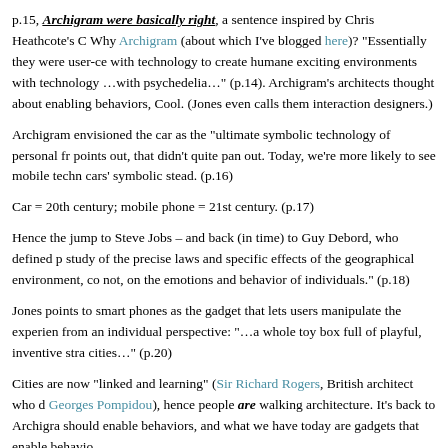p.15, Archigram were basically right, a sentence inspired by Chris Heathcote's C Why Archigram (about which I've blogged here)? "Essentially they were user-ce with technology to create humane exciting environments with technology …with psychedelia…" (p.14). Archigram's architects thought about enabling behaviors, Cool. (Jones even calls them interaction designers.)
Archigram envisioned the car as the "ultimate symbolic technology of personal fr points out, that didn't quite pan out. Today, we're more likely to see mobile techn cars' symbolic stead. (p.16)
Car = 20th century; mobile phone = 21st century. (p.17)
Hence the jump to Steve Jobs – and back (in time) to Guy Debord, who defined p study of the precise laws and specific effects of the geographical environment, co not, on the emotions and behavior of individuals." (p.18)
Jones points to smart phones as the gadget that lets users manipulate the experien from an individual perspective: "…a whole toy box full of playful, inventive stra cities…" (p.20)
Cities are now "linked and learning" (Sir Richard Rogers, British architect who d Georges Pompidou), hence people are walking architecture. It's back to Archigra should enable behaviors, and what we have today are gadgets that enable behavio